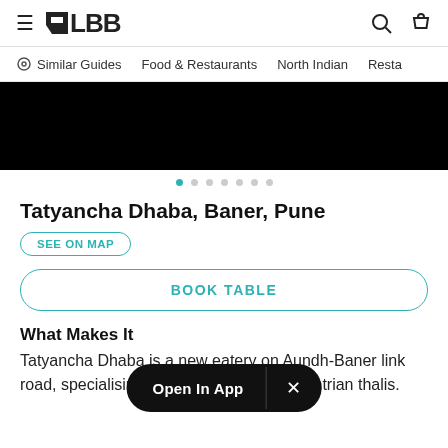≡ LBB  🔍 🛍
Similar Guides   Food & Restaurants   North Indian   Resta
[Figure (photo): Black hero image banner for restaurant listing]
Tatyancha Dhaba, Baner, Pune
SEE ON MAP
BOOK TABLE
What Makes It Special
Tatyancha Dhaba is a new eatery on Aundh-Baner link road, specialising in super sized Maharashtrian thalis.
Open In App  ×